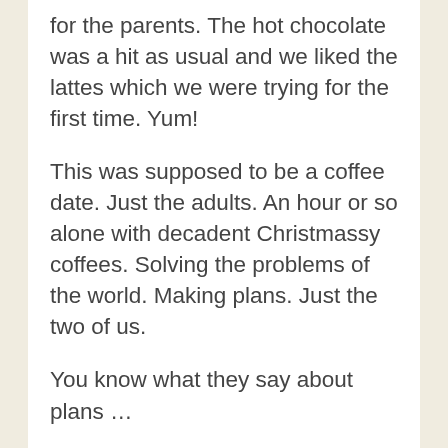for the parents. The hot chocolate was a hit as usual and we liked the lattes which we were trying for the first time. Yum!
This was supposed to be a coffee date. Just the adults. An hour or so alone with decadent Christmassy coffees. Solving the problems of the world. Making plans. Just the two of us.
You know what they say about plans …
Oh well.
After recent world events (that I definitely cannot solve alone) I could instantly think of about eighty-seven